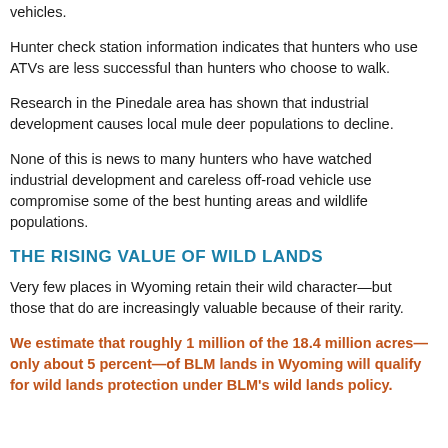vehicles.
Hunter check station information indicates that hunters who use ATVs are less successful than hunters who choose to walk.
Research in the Pinedale area has shown that industrial development causes local mule deer populations to decline.
None of this is news to many hunters who have watched industrial development and careless off-road vehicle use compromise some of the best hunting areas and wildlife populations.
THE RISING VALUE OF WILD LANDS
Very few places in Wyoming retain their wild character—but those that do are increasingly valuable because of their rarity.
We estimate that roughly 1 million of the 18.4 million acres—only about 5 percent—of BLM lands in Wyoming will qualify for wild lands protection under BLM's wild lands policy.